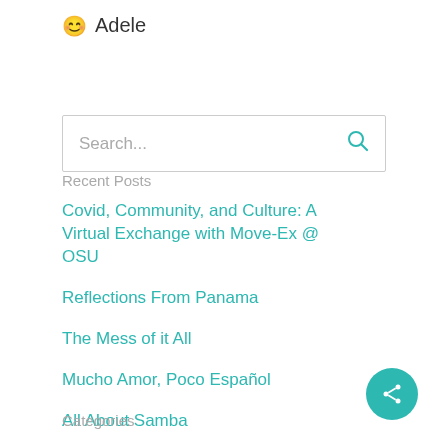😊 Adele
Search...
Recent Posts
Covid, Community, and Culture: A Virtual Exchange with Move-Ex @ OSU
Reflections From Panama
The Mess of it All
Mucho Amor, Poco Español
All About Samba
Categories